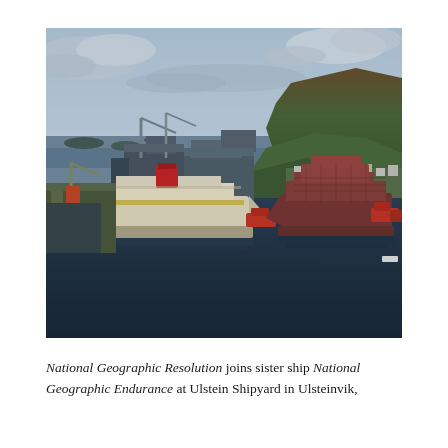[Figure (photo): Aerial photograph of Ulstein Shipyard in Ulsteinvik, Norway, showing two ships docked at the shipyard. One ship is white and yellow (National Geographic Endurance), and the other is a dark reddish-brown hull under construction (National Geographic Resolution). Industrial shipyard buildings, cranes, and fjord waters with mountainous forested terrain and dramatic sky in the background.]
National Geographic Resolution joins sister ship National Geographic Endurance at Ulstein Shipyard in Ulsteinvik,